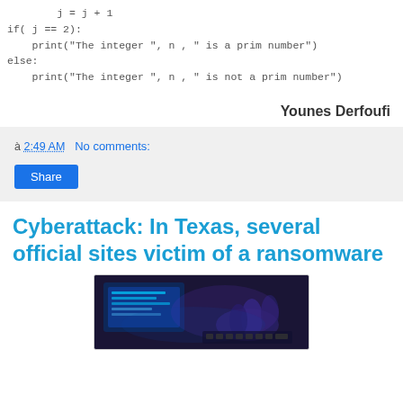j = j + 1
if( j == 2):
    print("The integer ", n , " is a prim number")
else:
    print("The integer ", n , " is not a prim number")
Younes Derfoufi
à 2:49 AM   No comments:
Share
Cyberattack: In Texas, several official sites victim of a ransomware
[Figure (photo): Photo of a hacker typing on a keyboard with blue digital/screen light in the background]